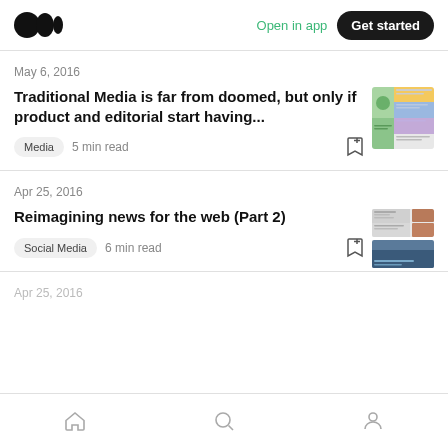Medium — Open in app   Get started
May 6, 2016
Traditional Media is far from doomed, but only if product and editorial start having...
Media   5 min read
Apr 25, 2016
Reimagining news for the web (Part 2)
Social Media   6 min read
Apr 25, 2016
Home  Search  Profile